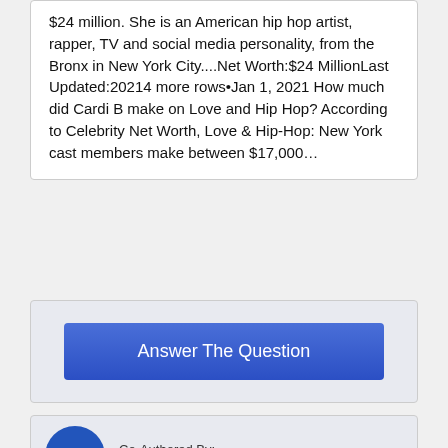$24 million. She is an American hip hop artist, rapper, TV and social media personality, from the Bronx in New York City....Net Worth:$24 MillionLast Updated:20214 more rows•Jan 1, 2021 How much did Cardi B make on Love and Hip Hop? According to Celebrity Net Worth, Love & Hip-Hop: New York cast members make between $17,000…
[Figure (other): Blue button labeled 'Answer The Question']
[Figure (logo): EtW circular logo with blue background and colorful letters]
Co-Authored By:
Xavier Smith